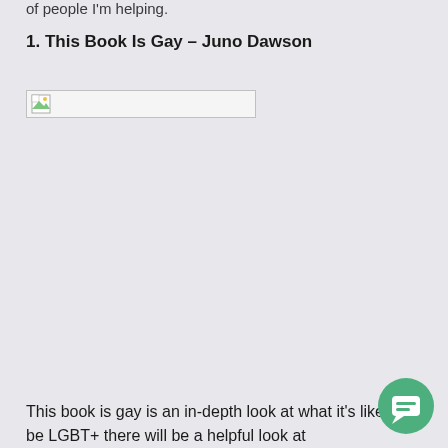of people I'm helping.
1. This Book Is Gay – Juno Dawson
[Figure (photo): Broken/unloaded image placeholder for book cover of This Book Is Gay by Juno Dawson]
This book is gay is an in-depth look at what it's like to be LGBT+ there will be a helpful look at...